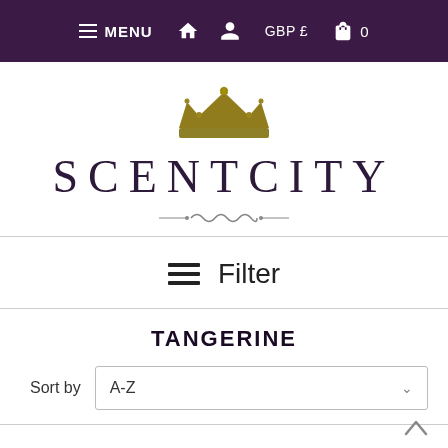≡ MENU  GBP £  0
[Figure (logo): ScentCity logo with gold crown above and decorative ornament below. Brand name SCENTCITY in large serif lettering.]
≡  Filter
TANGERINE
Sort by  A-Z